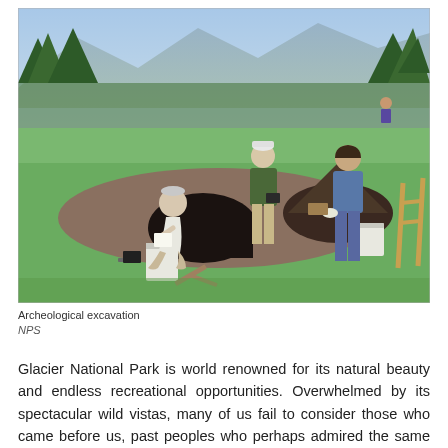[Figure (photo): Archeological excavation scene in a meadow. Two people stand and one crouches near an excavated pit in the ground. A pile of dark soil is visible to the right, along with a white bucket and wooden stakes. Green trees and mountains are visible in the background. Photo credit: NPS.]
Archeological excavation
NPS
Glacier National Park is world renowned for its natural beauty and endless recreational opportunities. Overwhelmed by its spectacular wild vistas, many of us fail to consider those who came before us, past peoples who perhaps admired the same views or whose